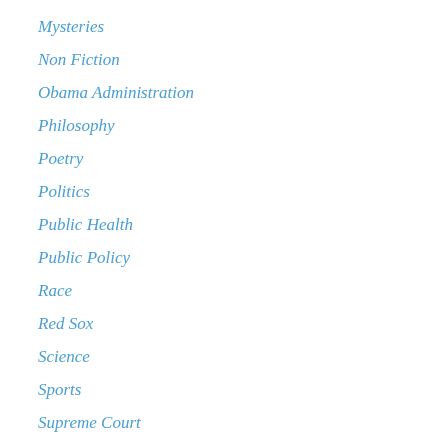Mysteries
Non Fiction
Obama Administration
Philosophy
Poetry
Politics
Public Health
Public Policy
Race
Red Sox
Science
Sports
Supreme Court
Tar Heels
Television and Movies
Tennis
The Trump Administration
Travel
Uncategorized
Unions